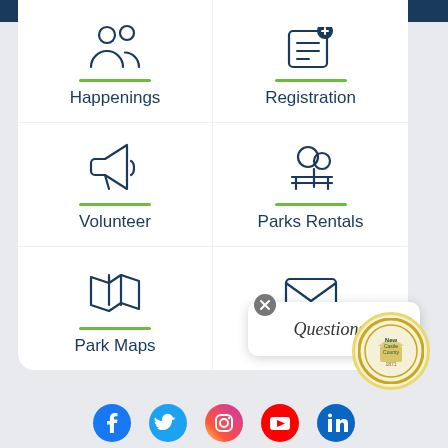[Figure (infographic): Six navigation tiles in a 2x3 grid: Happenings (people icon), Registration (form icon), Volunteer (megaphone icon), Parks Rentals (park/tree icon), Park Maps (map icon), Contact (envelope icon). Each tile has a green underline and dark blue label text.]
[Figure (infographic): Questions? popup dialog with close (x) button, overlapping the Contact tile. County seal circular logo visible at lower right.]
[Figure (infographic): Social media icons row at bottom: Facebook, Twitter, Instagram, YouTube, LinkedIn]